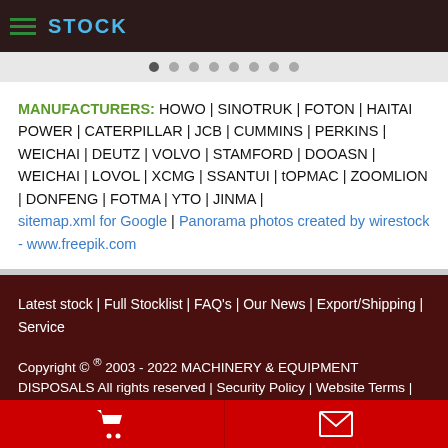STOCK
MANUFACTURERS: HOWO | SINOTRUK | FOTON | HAITAI POWER | CATERPILLAR | JCB | CUMMINS | PERKINS | WEICHAI | DEUTZ | VOLVO | STAMFORD | DOOASN | WEICHAI | LOVOL | XCMG | SSANTUI | tOPMAC | ZOOMLION | DONFENG | FOTMA | YTO | JINMA | sitemap.xml for Google | Panorama photos created by wirestock - www.freepik.com
Latest stock | Full Stocklist | FAQ's | Our News | Export/Shipping | Service
Copyright © ® 2003 - 2022 MACHINERY & EQUIPMENT DISPOSALS All rights reserved | Security Policy | Website Terms | SITEMAP
NOTE! This site uses cookies and similar technologies...